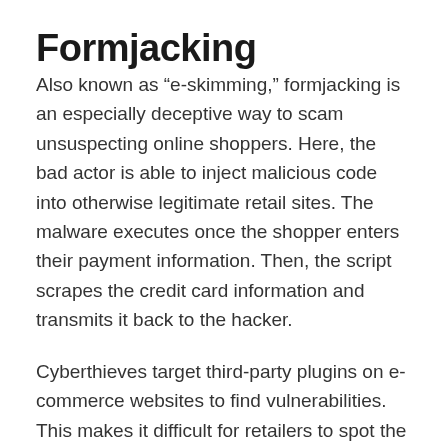Formjacking
Also known as “e-skimming,” formjacking is an especially deceptive way to scam unsuspecting online shoppers. Here, the bad actor is able to inject malicious code into otherwise legitimate retail sites. The malware executes once the shopper enters their payment information. Then, the script scrapes the credit card information and transmits it back to the hacker.
Cyberthieves target third-party plugins on e-commerce websites to find vulnerabilities. This makes it difficult for retailers to spot the problem before it becomes a huge issue since it doesn’t even occur in their controlled system. Although smaller companies without the